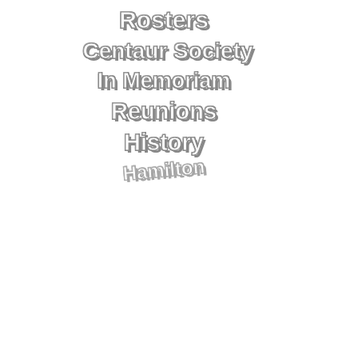Rosters
Centaur Society
In Memoriam
Reunions
History
Hamilton
Method 1: Get n...
The least trouble to... boxes and take the... use. Some may ev... even turn them ove...
Most of them will n... slide will be produc... 2000dpi will be ade... need to make poste...
Everyone of them w... enhancement done... impossible to find c... retouching. "Raw" i...
If you have a choic... compression of the... much more space o... are doing.